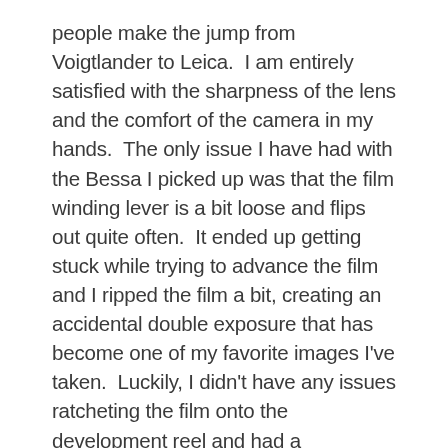people make the jump from Voigtlander to Leica.  I am entirely satisfied with the sharpness of the lens and the comfort of the camera in my hands.  The only issue I have had with the Bessa I picked up was that the film winding lever is a bit loose and flips out quite often.  It ended up getting stuck while trying to advance the film and I ripped the film a bit, creating an accidental double exposure that has become one of my favorite images I've taken.  Luckily, I didn't have any issues ratcheting the film onto the development reel and had a successful development with the first roll from my R3A.
An issue I noticed on my last black and white roll (see photos in my last post) as well as this one, was